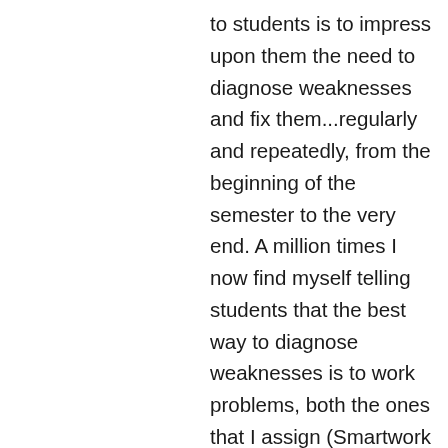to students is to impress upon them the need to diagnose weaknesses and fix them...regularly and repeatedly, from the beginning of the semester to the very end. A million times I now find myself telling students that the best way to diagnose weaknesses is to work problems, both the ones that I assign (Smartwork and written problem sets) and the ones that I don't (end-of-chapter problems). For that to work, students need to give each problem their best effort (pen to